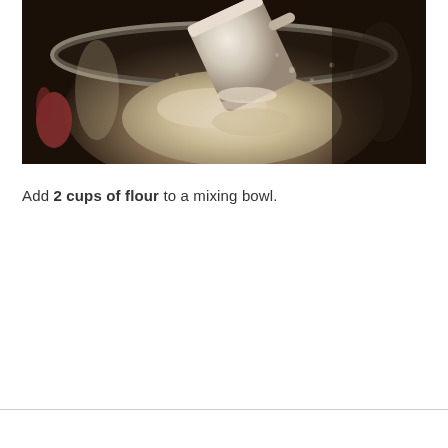[Figure (photo): Close-up photo of flour being poured from a measuring cup into a metal mixing bowl, with flour dust visible in the air against a dark background.]
Add 2 cups of flour to a mixing bowl.